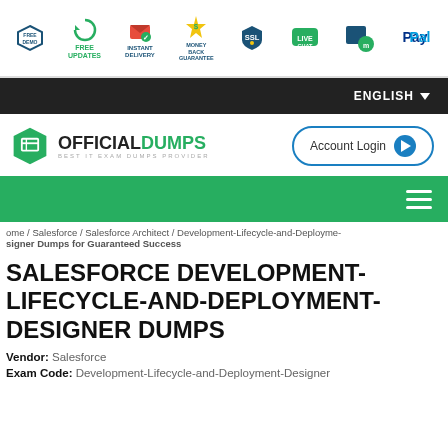[Figure (infographic): Top badge bar with icons: FREE DEMO, FREE UPDATES, INSTANT DELIVERY, MONEY BACK GUARANTEE, SSL, LIVE CHAT, Movice, PayPal]
ENGLISH
[Figure (logo): OfficialDumps logo - green hexagon with book icon, text OFFICIAL in black and DUMPS in green, subtitle BEST IT EXAM DUMPS PROVIDER]
[Figure (other): Account Login button with blue play circle icon]
[Figure (other): Green navigation bar with hamburger menu icon]
ome / Salesforce / Salesforce Architect / Development-Lifecycle-and-Deployme-
signer Dumps for Guaranteed Success
SALESFORCE DEVELOPMENT-LIFECYCLE-AND-DEPLOYMENT-DESIGNER DUMPS
Vendor: Salesforce
Exam Code: Development-Lifecycle-and-Deployment-Designer